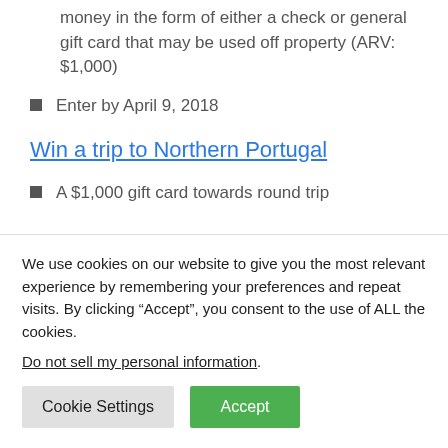money in the form of either a check or general gift card that may be used off property (ARV: $1,000)
Enter by April 9, 2018
Win a trip to Northern Portugal
A $1,000 gift card towards round trip
We use cookies on our website to give you the most relevant experience by remembering your preferences and repeat visits. By clicking “Accept”, you consent to the use of ALL the cookies.
Do not sell my personal information.